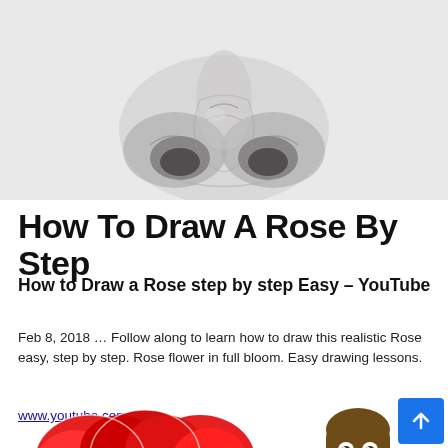[Figure (photo): Black and white pencil drawing of a realistic human nose, viewed from below, centered against a light gray background.]
How To Draw A Rose By Step
How to Draw a Rose step by step Easy – YouTube
Feb 8, 2018 … Follow along to learn how to draw this realistic Rose easy, step by step. Rose flower in full bloom. Easy drawing lessons.
www.youtube.com
[Figure (illustration): Colorful cartoon-style drawing of a red rose, partially visible at the bottom of the page.]
[Figure (illustration): Small cartoon character with brown hair and big eyes, partially visible at the bottom right.]